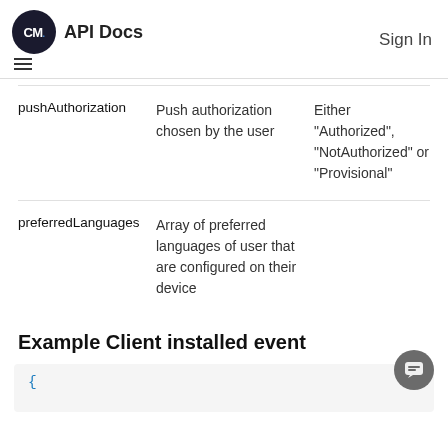API Docs   Sign In
| Field | Description | Values |
| --- | --- | --- |
| pushAuthorization | Push authorization chosen by the user | Either "Authorized", "NotAuthorized" or "Provisional" |
| preferredLanguages | Array of preferred languages of user that are configured on their device |  |
Example Client installed event
{